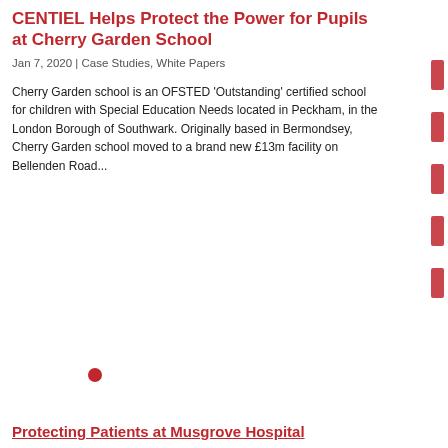CENTIEL Helps Protect the Power for Pupils at Cherry Garden School
Jan 7, 2020 | Case Studies, White Papers
Cherry Garden school is an OFSTED ‘Outstanding’ certified school for children with Special Education Needs located in Peckham, in the London Borough of Southwark. Originally based in Bermondsey, Cherry Garden school moved to a brand new £13m facility on Bellenden Road...
Protecting Patients at Musgrove Hospital